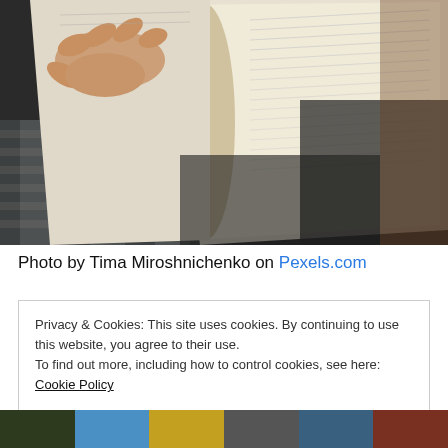[Figure (photo): A person's hand holding open a thick book (likely a Bible), with pages fanned out. The person is wearing a plaid shirt and sitting on a dark surface. Close-up, slightly blurred background.]
Photo by Tima Miroshnichenko on Pexels.com
Privacy & Cookies: This site uses cookies. By continuing to use this website, you agree to their use.
To find out more, including how to control cookies, see here: Cookie Policy

Close and accept
[Figure (photo): Bottom strip showing partial thumbnails of other photos on the website.]